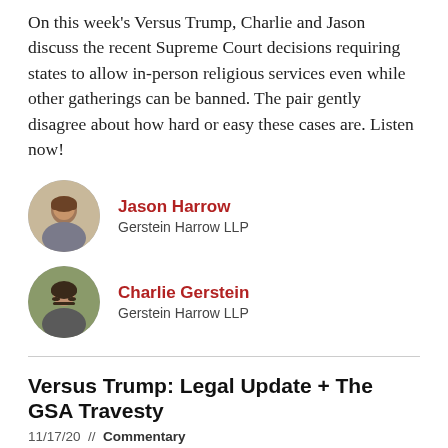On this week's Versus Trump, Charlie and Jason discuss the recent Supreme Court decisions requiring states to allow in-person religious services even while other gatherings can be banned. The pair gently disagree about how hard or easy these cases are. Listen now!
Jason Harrow
Gerstein Harrow LLP
Charlie Gerstein
Gerstein Harrow LLP
Versus Trump: Legal Update + The GSA Travesty
11/17/20 // Commentary
On this week's Versus Trump, Charlie and Jason discuss the status of Trump's legal challenges to the election (going nowhere) and the Trump Administration's